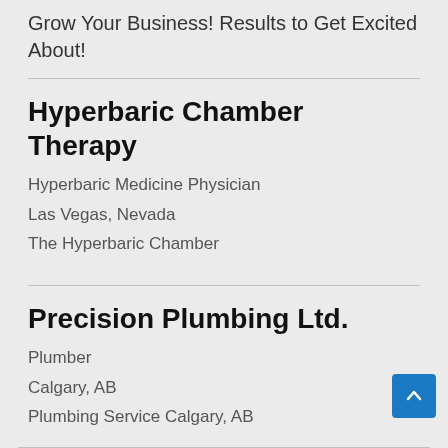Grow Your Business! Results to Get Excited About!
Hyperbaric Chamber Therapy
Hyperbaric Medicine Physician
Las Vegas, Nevada
The Hyperbaric Chamber
Precision Plumbing Ltd.
Plumber
Calgary, AB
Plumbing Service Calgary, AB